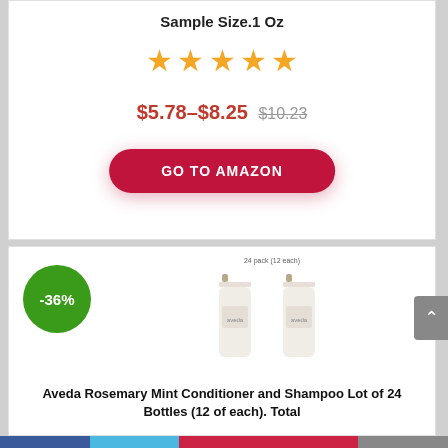Sample Size.1 Oz
[Figure (other): Five orange/gold star rating icons]
$5.78–$8.25 $10.23
GO TO AMAZON
[Figure (photo): Two white bottles of Aveda Rosemary Mint Conditioner and Shampoo with a -36% discount badge]
Aveda Rosemary Mint Conditioner and Shampoo Lot of 24 Bottles (12 of each). Total